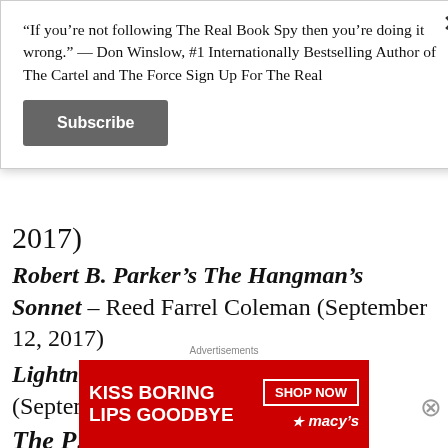“If you’re not following The Real Book Spy then you’re doing it wrong.” — Don Winslow, #1 Internationally Bestselling Author of The Cartel and The Force Sign Up For The Real
Subscribe
2017)
Robert B. Parker’s The Hangman’s Sonnet – Reed Farrel Coleman (September 12, 2017)
Lightning Men – Thomas Mullen (September 12, 2017)
The [partial text cut off]
Advertisements
[Figure (photo): Advertisement banner: KISS BORING LIPS GOODBYE with SHOP NOW and Macy's logo on red background]